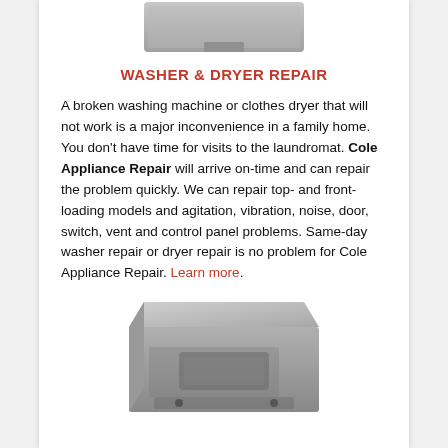[Figure (photo): Top portion of a washing machine or dryer appliance, silver/grey colored, cropped at top of page]
WASHER & DRYER REPAIR
A broken washing machine or clothes dryer that will not work is a major inconvenience in a family home. You don't have time for visits to the laundromat. Cole Appliance Repair will arrive on-time and can repair the problem quickly. We can repair top- and front-loading models and agitation, vibration, noise, door, switch, vent and control panel problems. Same-day washer repair or dryer repair is no problem for Cole Appliance Repair. Learn more.
[Figure (photo): Bottom portion of another appliance (likely a range or stove), silver/grey colored, partially cropped at bottom of page]